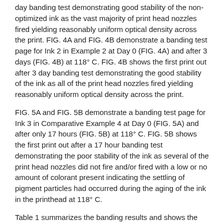day banding test demonstrating good stability of the non-optimized ink as the vast majority of print head nozzles fired yielding reasonably uniform optical density across the print. FIG. 4A and FIG. 4B demonstrate a banding test page for Ink 2 in Example 2 at Day 0 (FIG. 4A) and after 3 days (FIG. 4B) at 118° C. FIG. 4B shows the first print out after 3 day banding test demonstrating the good stability of the ink as all of the print head nozzles fired yielding reasonably uniform optical density across the print.
FIG. 5A and FIG. 5B demonstrate a banding test page for Ink 3 in Comparative Example 4 at Day 0 (FIG. 5A) and after only 17 hours (FIG. 5B) at 118° C. FIG. 5B shows the first print out after a 17 hour banding test demonstrating the poor stability of the ink as several of the print head nozzles did not fire and/or fired with a low or no amount of colorant present indicating the settling of pigment particles had occurred during the aging of the ink in the printhead at 118° C.
Table 1 summarizes the banding results and shows the best banding results are those that have the overall lowest variable optical density across the printed page.